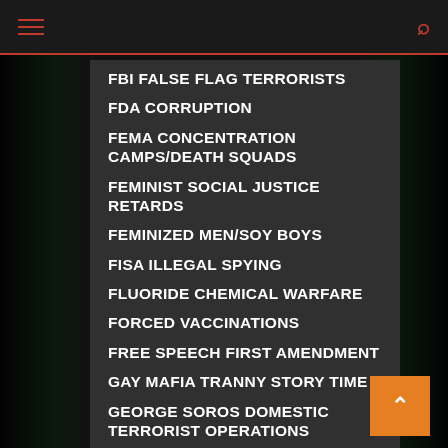Navigation menu with hamburger icon and search icon
FBI FALSE FLAG TERRORISTS
FDA CORRUPTION
FEMA CONCENTRATION CAMPS/DEATH SQUADS
FEMINIST SOCIAL JUSTICE RETARDS
FEMINIZED MEN/SOY BOYS
FISA ILLEGAL SPYING
FLUORIDE CHEMICAL WARFARE
FORCED VACCINATIONS
FREE SPEECH FIRST AMENDMENT
GAY MAFIA TRANNY STORY TIME
GEORGE SOROS DOMESTIC TERRORIST OPERATIONS
GLOBAL WARMING CLIMATE CHANGE FRAUD
GOOGLE CENSORSHIP POLICE STATE